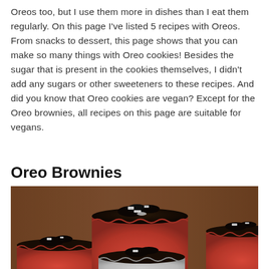Oreos too, but I use them more in dishes than I eat them regularly. On this page I've listed 5 recipes with Oreos. From snacks to dessert, this page shows that you can make so many things with Oreo cookies! Besides the sugar that is present in the cookies themselves, I didn't add any sugars or other sweeteners to these recipes. And did you know that Oreo cookies are vegan? Except for the Oreo brownies, all recipes on this page are suitable for vegans.
Oreo Brownies
[Figure (photo): Close-up photo of chocolate brownie cupcakes topped with Oreo cookie pieces, in red and white paper cupcake liners, on a warm wooden surface.]